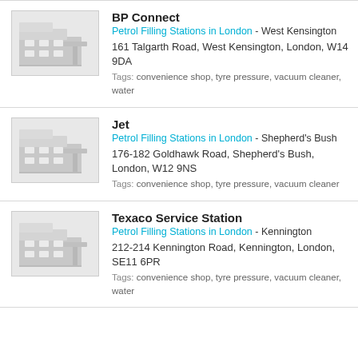[Figure (illustration): Grey building/petrol station icon illustration]
BP Connect
Petrol Filling Stations in London - West Kensington
161 Talgarth Road, West Kensington, London, W14 9DA
Tags: convenience shop, tyre pressure, vacuum cleaner, water
[Figure (illustration): Grey building/petrol station icon illustration]
Jet
Petrol Filling Stations in London - Shepherd's Bush
176-182 Goldhawk Road, Shepherd's Bush, London, W12 9NS
Tags: convenience shop, tyre pressure, vacuum cleaner
[Figure (illustration): Grey building/petrol station icon illustration]
Texaco Service Station
Petrol Filling Stations in London - Kennington
212-214 Kennington Road, Kennington, London, SE11 6PR
Tags: convenience shop, tyre pressure, vacuum cleaner, water